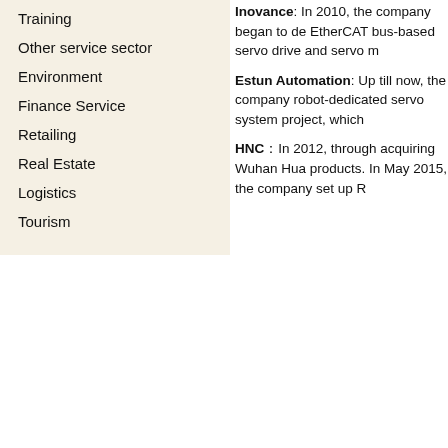Training
Other service sector
Environment
Finance Service
Retailing
Real Estate
Logistics
Tourism
Inovance: In 2010, the company began to de EtherCAT bus-based servo drive and servo m
Estun Automation: Up till now, the company robot-dedicated servo system project, which
HNC：In 2012, through acquiring Wuhan Hua products. In May 2015, the company set up R